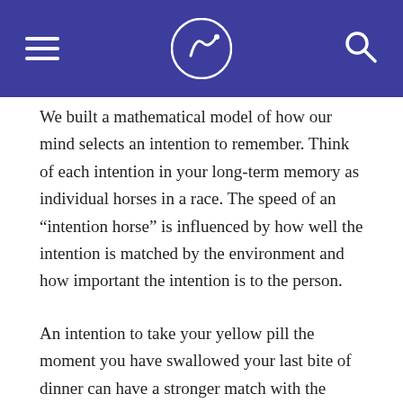Navigation header with hamburger menu, logo, and search icon
We built a mathematical model of how our mind selects an intention to remember. Think of each intention in your long-term memory as individual horses in a race. The speed of an “intention horse” is influenced by how well the intention is matched by the environment and how important the intention is to the person.
An intention to take your yellow pill the moment you have swallowed your last bite of dinner can have a stronger match with the environment (yellow pills and swallowing the last bite) than a plan simply to take your medicine. The importance of an intention is how rewarding it will be for you.
Match and importance influence the speed of the intentions in their race towards selection. This happens subconsciously.